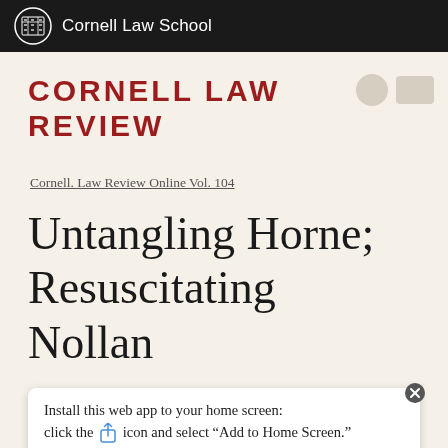Cornell Law School
Cornell Law Review
Cornell. Law Review Online Vol. 104
Untangling Horne; Resuscitating Nollan
Install this web app to your home screen: click the [share] icon and select “Add to Home Screen.”